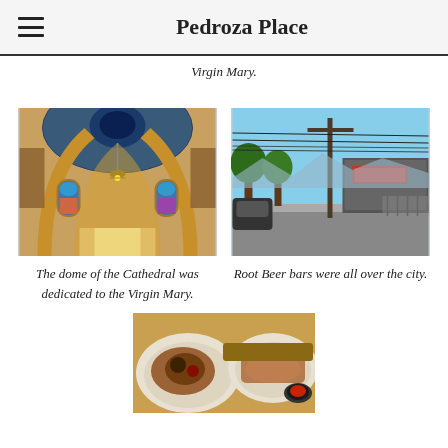Pedroza Place
Virgin Mary.
[Figure (photo): Interior of a cathedral dome with ornate arches, stained glass windows, chandelier, and golden decorations dedicated to the Virgin Mary.]
The dome of the Cathedral was dedicated to the Virgin Mary.
[Figure (photo): Street scene with utility poles and power lines, trees, and a building with signage visible on a sunny day.]
Root Beer bars were all over the city.
[Figure (photo): Close-up of food dishes on a table, partially visible at the bottom of the page.]